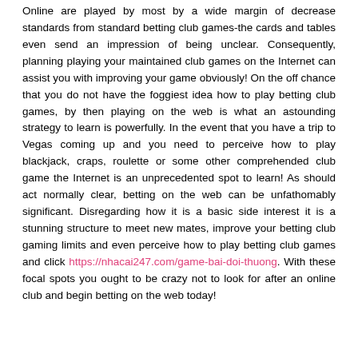Online are played by most by a wide margin of decrease standards from standard betting club games-the cards and tables even send an impression of being unclear. Consequently, planning playing your maintained club games on the Internet can assist you with improving your game obviously! On the off chance that you do not have the foggiest idea how to play betting club games, by then playing on the web is what an astounding strategy to learn is powerfully. In the event that you have a trip to Vegas coming up and you need to perceive how to play blackjack, craps, roulette or some other comprehended club game the Internet is an unprecedented spot to learn! As should act normally clear, betting on the web can be unfathomably significant. Disregarding how it is a basic side interest it is a stunning structure to meet new mates, improve your betting club gaming limits and even perceive how to play betting club games and click https://nhacai247.com/game-bai-doi-thuong. With these focal spots you ought to be crazy not to look for after an online club and begin betting on the web today!